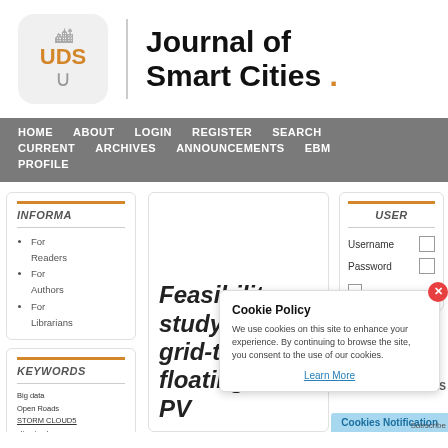[Figure (logo): UDS Journal of Smart Cities logo with city skyline icon and open book graphic]
Journal of Smart Cities .
HOME   ABOUT   LOGIN   REGISTER   SEARCH   CURRENT   ARCHIVES   ANNOUNCEMENTS   EBM   PROFILE
INFORMA
For Readers
For Authors
For Librarians
KEYWORDS
Big data
Open Roads
STORM CLOUD5
climate change
cloud computing
energy sharing
integrated smart energy grid
Feasibility study of a grid-tied 2MW floating solar PV
USER
Username
Password
Cookie Policy
We use cookies on this site to enhance your experience. By continuing to browse the site, you consent to the use of our cookies.
Learn More
Cookies Notification